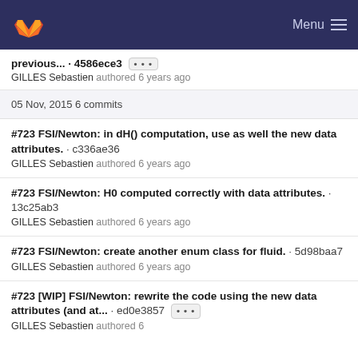Menu
previous... · 4586ece3 ···
GILLES Sebastien authored 6 years ago
05 Nov, 2015 6 commits
#723 FSI/Newton: in dH() computation, use as well the new data attributes. · c336ae36
GILLES Sebastien authored 6 years ago
#723 FSI/Newton: H0 computed correctly with data attributes. · 13c25ab3
GILLES Sebastien authored 6 years ago
#723 FSI/Newton: create another enum class for fluid. · 5d98baa7
GILLES Sebastien authored 6 years ago
#723 [WIP] FSI/Newton: rewrite the code using the new data attributes (and at... · ed0e3857 ···
GILLES Sebastien authored 6 years ago